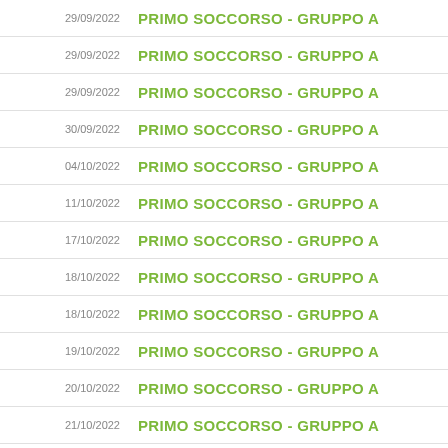| Date | Event |
| --- | --- |
| 29/09/2022 | PRIMO SOCCORSO - GRUPPO A |
| 29/09/2022 | PRIMO SOCCORSO - GRUPPO A |
| 29/09/2022 | PRIMO SOCCORSO - GRUPPO A |
| 30/09/2022 | PRIMO SOCCORSO - GRUPPO A |
| 04/10/2022 | PRIMO SOCCORSO - GRUPPO A |
| 11/10/2022 | PRIMO SOCCORSO - GRUPPO A |
| 17/10/2022 | PRIMO SOCCORSO - GRUPPO A |
| 18/10/2022 | PRIMO SOCCORSO - GRUPPO A |
| 18/10/2022 | PRIMO SOCCORSO - GRUPPO A |
| 19/10/2022 | PRIMO SOCCORSO - GRUPPO A |
| 20/10/2022 | PRIMO SOCCORSO - GRUPPO A |
| 21/10/2022 | PRIMO SOCCORSO - GRUPPO A |